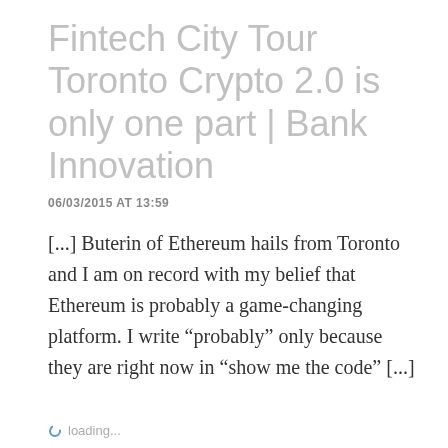Fintech City Tour Toronto Crypto 2.0 is only one part | Bank Innovation
06/03/2015 AT 13:59
[...] Buterin of Ethereum hails from Toronto and I am on record with my belief that Ethereum is probably a game-changing platform. I write “probably” only because they are right now in “show me the code” [...]